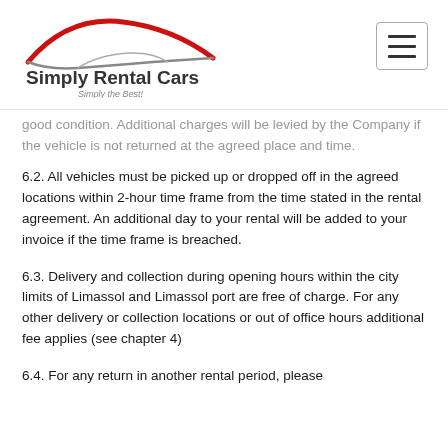[Figure (logo): Simply Rental Cars logo with red car silhouette arc and tagline 'Simply the Best']
good condition. Additional charges will be levied by the Company if the vehicle is not returned at the agreed place and time.
6.2. All vehicles must be picked up or dropped off in the agreed locations within 2-hour time frame from the time stated in the rental agreement. An additional day to your rental will be added to your invoice if the time frame is breached.
6.3. Delivery and collection during opening hours within the city limits of Limassol and Limassol port are free of charge. For any other delivery or collection locations or out of office hours additional fee applies (see chapter 4)
6.4. For any return in another rental period, please...